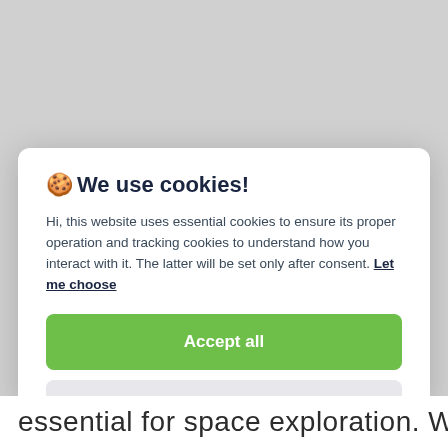🍪 We use cookies!
Hi, this website uses essential cookies to ensure its proper operation and tracking cookies to understand how you interact with it. The latter will be set only after consent. Let me choose
Accept all
Reject all
essential for space exploration. We look